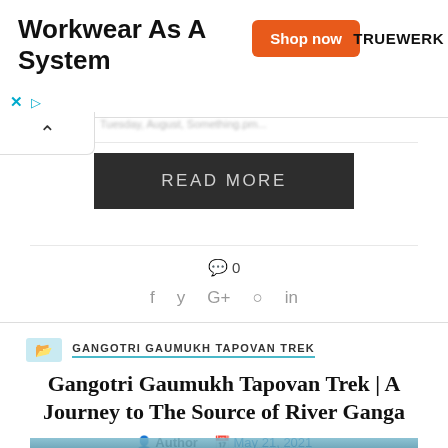[Figure (screenshot): Advertisement banner for Truewerk workwear with orange 'Shop now' button and bold headline 'Workwear As A System']
READ MORE
0
f  y  G+  ●  in
GANGOTRI GAUMUKH TAPOVAN TREK
Gangotri Gaumukh Tapovan Trek | A Journey to The Source of River Ganga
Author  May 21, 2021